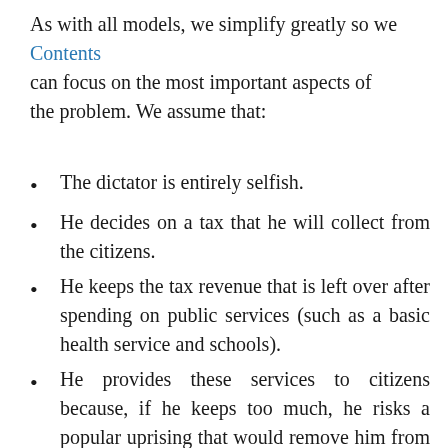As with all models, we simplify greatly so we Contents can focus on the most important aspects of the problem. We assume that:
The dictator is entirely selfish.
He decides on a tax that he will collect from the citizens.
He keeps the tax revenue that is left over after spending on public services (such as a basic health service and schools).
He provides these services to citizens because, if he keeps too much, he risks a popular uprising that would remove him from office.